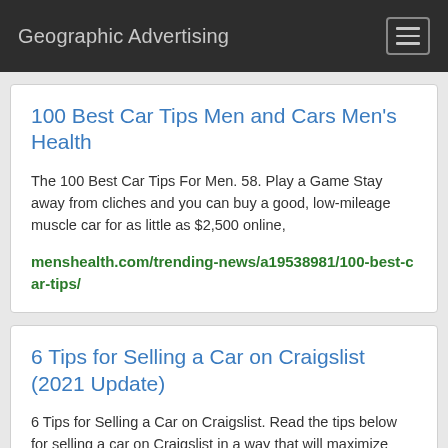Geographic Advertising
100 Best Car Tips Men and Cars Men's Health
The 100 Best Car Tips For Men. 58. Play a Game Stay away from cliches and you can buy a good, low-mileage muscle car for as little as $2,500 online,
menshealth.com/trending-news/a19538981/100-best-car-tips/
6 Tips for Selling a Car on Craigslist (2021 Update)
6 Tips for Selling a Car on Craigslist. Read the tips below for selling a car on Craigslist in a way that will maximize your profit and minimize your hassle. 1. Prep Your Vehicle. We recently bought a vehicle from Craigslist. We had certain